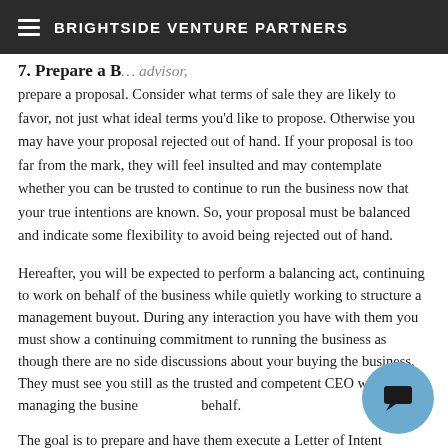BRIGHTSIDE VENTURE PARTNERS
7. Prepare a Balanced Proposal. advisor, prepare a proposal.  Consider what terms of sale they are likely to favor, not just what ideal terms you'd like to propose.  Otherwise you may have your proposal rejected out of hand.  If your proposal is too far from the mark, they will feel insulted and may contemplate whether you can be trusted to continue to run the business now that your true intentions are known.  So, your proposal must be balanced and indicate some flexibility to avoid being rejected out of hand.
Hereafter, you will be expected to perform a balancing act, continuing to work on behalf of the business while quietly working to structure a management buyout. During any interaction you have with them you must show a continuing commitment to running the business as though there are no side discussions about your buying the business.  They must see you still as the trusted and competent CEO who is managing the business on their behalf.
The goal is to prepare and have them execute a Letter of Intent